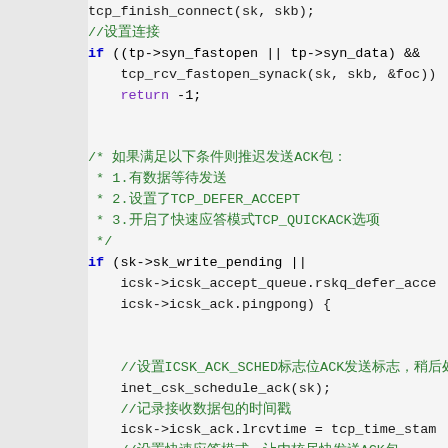Code snippet showing TCP connection handling in C, including tcp_finish_connect, tcp_rcv_fastopen_synack, sk_write_pending, icsk_accept_queue, inet_csk_schedule_ack, icsk_ack.lrcvtime, tcp_enter_quickack_mode with Chinese comments.